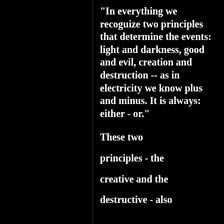"In everything we recoguize two principles that determine the events: light and darkness, good and evil, creation and destruction -- as in electricity we know plus and minus. It is always: either - or."

These two

principles - the

creative and the

destructive - also